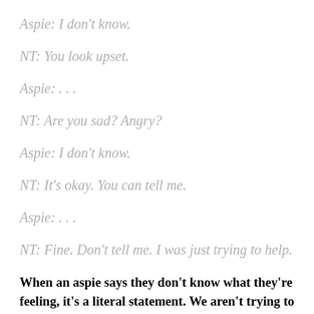Aspie: I don't know.
NT: You look upset.
Aspie: . . .
NT: Are you sad? Angry?
Aspie: I don't know.
NT: It's okay. You can tell me.
Aspie: . . .
NT: Fine. Don't tell me. I was just trying to help.
When an aspie says they don't know what they're feeling, it's a literal statement. We aren't trying to dodge the conversation. We aren't withholding information. We aren't being rude.